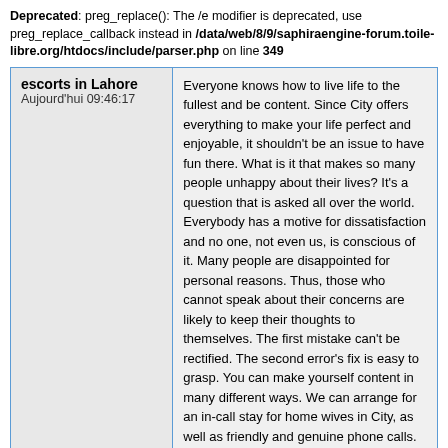Deprecated: preg_replace(): The /e modifier is deprecated, use preg_replace_callback instead in /data/web/8/9/saphiraengine-forum.toile-libre.org/htdocs/include/parser.php on line 349
| escorts in Lahore
Aujourd'hui 09:46:17 | Post body text |
| --- | --- |
| escorts in Lahore
Aujourd'hui 09:46:17 | Everyone knows how to live life to the fullest and be content. Since City offers everything to make your life perfect and enjoyable, it shouldn't be an issue to have fun there. What is it that makes so many people unhappy about their lives? It's a question that is asked all over the world. Everybody has a motive for dissatisfaction and no one, not even us, is conscious of it. Many people are disappointed for personal reasons. Thus, those who cannot speak about their concerns are likely to keep their thoughts to themselves. The first mistake can't be rectified. The second error's fix is easy to grasp. You can make yourself content in many different ways. We can arrange for an in-call stay for home wives in City, as well as friendly and genuine phone calls. Wouldn't that be cool and interesting to listen to?
https://lahorebeauty.com/ |
Deprecated: preg_replace(): The /e modifier is deprecated, use preg_replace_callback instead in /data/web/8/9/saphiraengine-forum.toile-